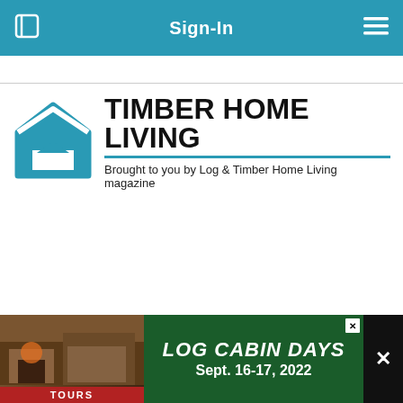Sign-In
[Figure (logo): Timber Home Living logo with house icon and subtitle 'Brought to you by Log & Timber Home Living magazine']
FOLLOW US >
[Figure (screenshot): Advertisement banner: Log Cabin Days Tours, Sept. 16-17, 2022]